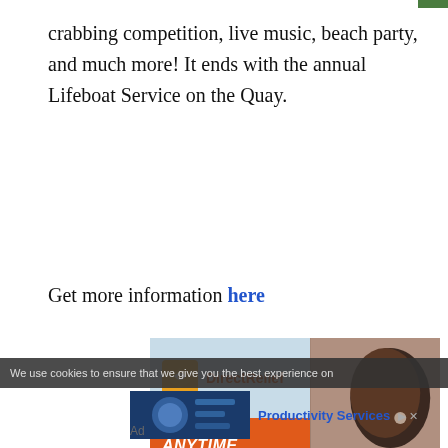crabbing competition, live music, beach party, and much more! It ends with the annual Lifeboat Service on the Quay.
Get more information here
[Figure (photo): Direct Relief charity advertisement banner with logo, orange background saying ANYTIME. ANYWHERE. ANYONE IN NEED. and a photo of a person]
We use cookies to ensure that we give you the best experience on
[Figure (photo): Productivity Services advertisement with a mechanical/industrial image]
Ad